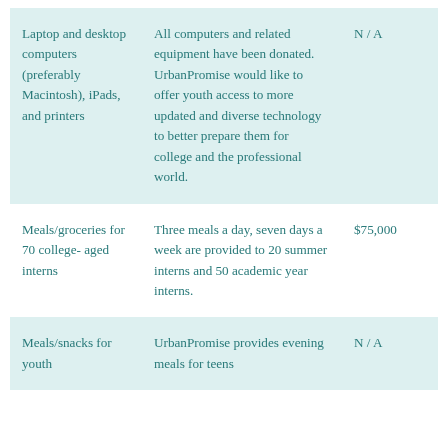| Laptop and desktop computers (preferably Macintosh), iPads, and printers | All computers and related equipment have been donated. UrbanPromise would like to offer youth access to more updated and diverse technology to better prepare them for college and the professional world. | N / A |
| Meals/groceries for 70 college- aged interns | Three meals a day, seven days a week are provided to 20 summer interns and 50 academic year interns. | $75,000 |
| Meals/snacks for youth | UrbanPromise provides evening meals for teens | N / A |